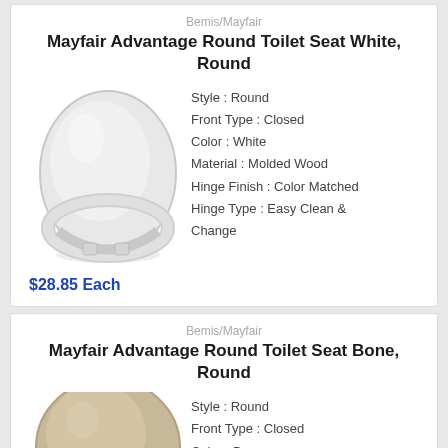Bemis/Mayfair
Mayfair Advantage Round Toilet Seat White, Round
[Figure (photo): White round toilet seat with closed front and white hinges, shown from a side-front angle]
Style : Round
Front Type : Closed
Color : White
Material : Molded Wood
Hinge Finish : Color Matched
Hinge Type : Easy Clean & Change
$28.85 Each
Bemis/Mayfair
Mayfair Advantage Round Toilet Seat Bone, Round
[Figure (photo): Bone/beige colored round toilet seat, partially visible, showing the top lid from a slight angle]
Style : Round
Front Type : Closed
Color : Bone
Material : Molded Wood